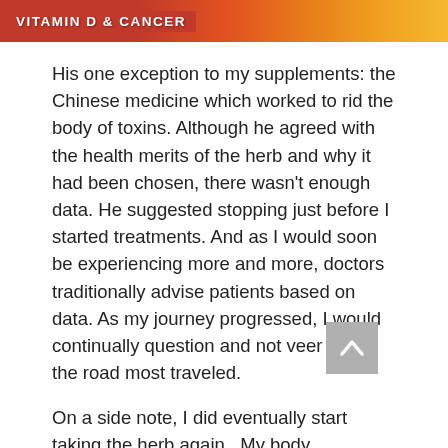VITAMIN D & CANCER
His one exception to my supplements: the Chinese medicine which worked to rid the body of toxins. Although he agreed with the health merits of the herb and why it had been chosen, there wasn't enough data. He suggested stopping just before I started treatments. And as I would soon be experiencing more and more, doctors traditionally advise patients based on data. As my journey progressed, I would continually question and not veer down the road most traveled.
On a side note, I did eventually start taking the herb again.  My body